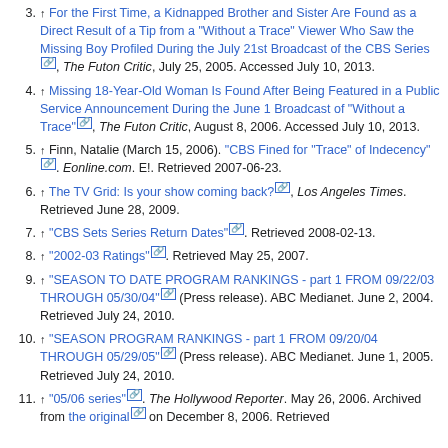3. ↑ For the First Time, a Kidnapped Brother and Sister Are Found as a Direct Result of a Tip from a "Without a Trace" Viewer Who Saw the Missing Boy Profiled During the July 21st Broadcast of the CBS Series [external link], The Futon Critic, July 25, 2005. Accessed July 10, 2013.
4. ↑ Missing 18-Year-Old Woman Is Found After Being Featured in a Public Service Announcement During the June 1 Broadcast of "Without a Trace" [external link], The Futon Critic, August 8, 2006. Accessed July 10, 2013.
5. ↑ Finn, Natalie (March 15, 2006). "CBS Fined for "Trace" of Indecency" [external link]. Eonline.com. E!. Retrieved 2007-06-23.
6. ↑ The TV Grid: Is your show coming back? [external link], Los Angeles Times. Retrieved June 28, 2009.
7. ↑ "CBS Sets Series Return Dates" [external link]. Retrieved 2008-02-13.
8. ↑ "2002-03 Ratings" [external link]. Retrieved May 25, 2007.
9. ↑ "SEASON TO DATE PROGRAM RANKINGS - part 1 FROM 09/22/03 THROUGH 05/30/04" [external link] (Press release). ABC Medianet. June 2, 2004. Retrieved July 24, 2010.
10. ↑ "SEASON PROGRAM RANKINGS - part 1 FROM 09/20/04 THROUGH 05/29/05" [external link] (Press release). ABC Medianet. June 1, 2005. Retrieved July 24, 2010.
11. ↑ "05/06 series" [external link]. The Hollywood Reporter. May 26, 2006. Archived from the original [external link] on December 8, 2006. Retrieved